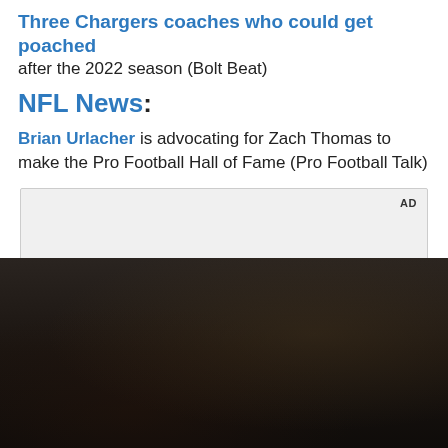Three Chargers coaches who could get poached after the 2022 season (Bolt Beat)
NFL News:
Brian Urlacher is advocating for Zach Thomas to make the Pro Football Hall of Fame (Pro Football Talk)
[Figure (other): Advertisement placeholder box with 'AD' label in top right corner]
[Figure (other): Video still from Samsung advertisement showing a person holding a foldable phone inside a car, with overlay text 'Unfold your world' and a play button]